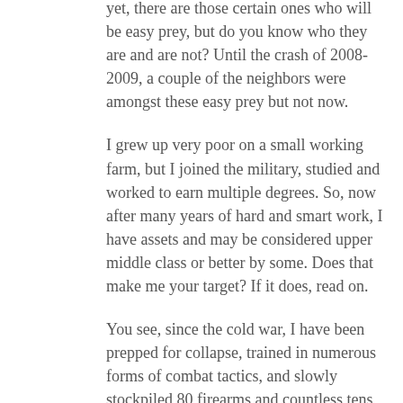yet, there are those certain ones who will be easy prey, but do you know who they are and are not? Until the crash of 2008-2009, a couple of the neighbors were amongst these easy prey but not now.
I grew up very poor on a small working farm, but I joined the military, studied and worked to earn multiple degrees. So, now after many years of hard and smart work, I have assets and may be considered upper middle class or better by some. Does that make me your target? If it does, read on.
You see, since the cold war, I have been prepped for collapse, trained in numerous forms of combat tactics, and slowly stockpiled 80 firearms and countless tens of thousands of rounds. Quietly, I and my friends trained with IDPA, IPSC, Nat'l Match and other Combat